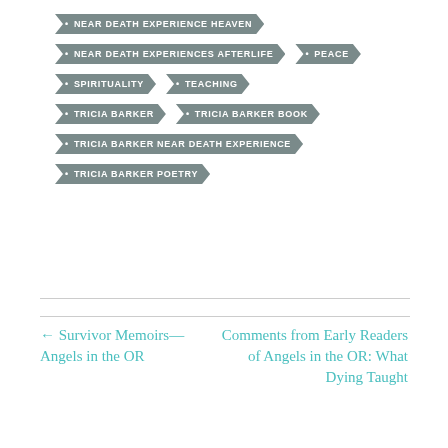NEAR DEATH EXPERIENCE HEAVEN
NEAR DEATH EXPERIENCES AFTERLIFE
PEACE
SPIRITUALITY
TEACHING
TRICIA BARKER
TRICIA BARKER BOOK
TRICIA BARKER NEAR DEATH EXPERIENCE
TRICIA BARKER POETRY
← Survivor Memoirs—Angels in the OR
Comments from Early Readers of Angels in the OR: What Dying Taught